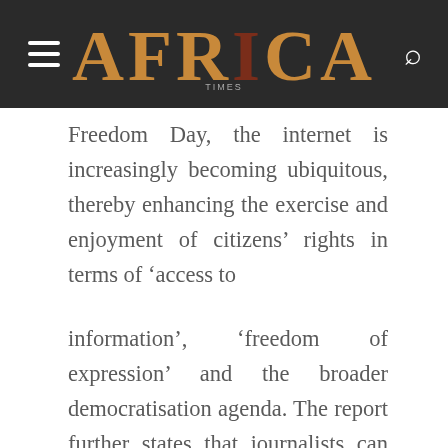AFRICA
Freedom Day, the internet is increasingly becoming ubiquitous, thereby enhancing the exercise and enjoyment of citizens’ rights in terms of ‘access to information’, ‘freedom of expression’ and the broader democratisation agenda. The report further states that journalists can now reach more audience than ever before because of the